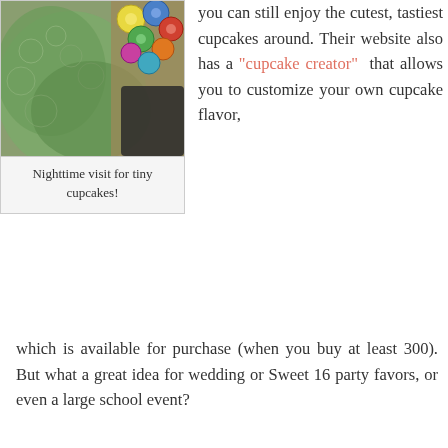[Figure (photo): Photo of a green lace fabric/cupcake decoration and colorful circular items in the background, nighttime visit for tiny cupcakes]
Nighttime visit for tiny cupcakes!
you can still enjoy the cutest, tastiest cupcakes around. Their website also has a "cupcake creator" that allows you to customize your own cupcake flavor, which is available for purchase (when you buy at least 300). But what a great idea for wedding or Sweet 16 party favors, or even a large school event?